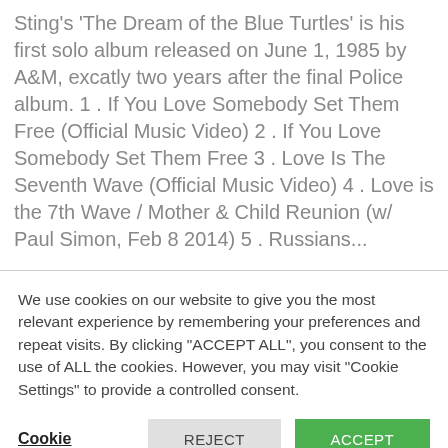Sting's 'The Dream of the Blue Turtles' is his first solo album released on June 1, 1985 by A&M, excatly two years after the final Police album. 1 . If You Love Somebody Set Them Free (Official Music Video) 2 . If You Love Somebody Set Them Free 3 . Love Is The Seventh Wave (Official Music Video) 4 . Love is the 7th Wave / Mother & Child Reunion (w/ Paul Simon, Feb 8 2014) 5 . Russians...
We use cookies on our website to give you the most relevant experience by remembering your preferences and repeat visits. By clicking "ACCEPT ALL", you consent to the use of ALL the cookies. However, you may visit "Cookie Settings" to provide a controlled consent.
Cookie Settings | REJECT ALL | ACCEPT ALL